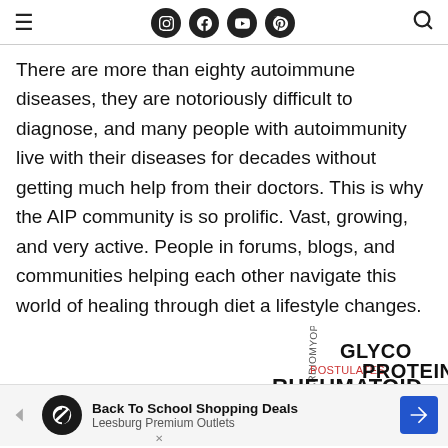Navigation header with hamburger menu, social icons (Instagram, Facebook, YouTube, Pinterest), and search icon
There are more than eighty autoimmune diseases, they are notoriously difficult to diagnose, and many people with autoimmunity live with their diseases for decades without getting much help from their doctors. This is why the AIP community is so prolific. Vast, growing, and very active. People in forums, blogs, and communities helping each other navigate this world of healing through diet a lifestyle changes.
[Figure (infographic): Word cloud related to autoimmune diseases featuring terms: GLYCOPROTEIN, RHEUMATOID, ACETYLCHOLINE, POSTULATES, ISLET, OVERREACTION, CARDIOMYOPAI., NEUROPATHY in various sizes, orientations and colors (black, red, blue)]
Back To School Shopping Deals Leesburg Premium Outlets (advertisement banner)